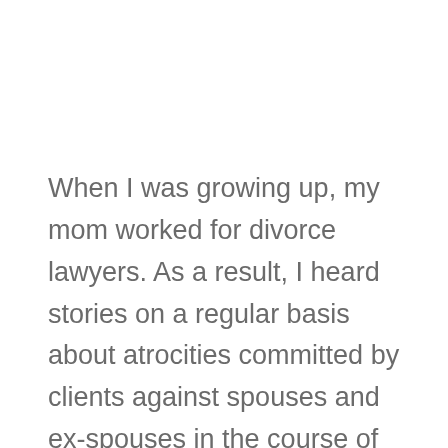When I was growing up, my mom worked for divorce lawyers. As a result, I heard stories on a regular basis about atrocities committed by clients against spouses and ex-spouses in the course of divorce proceedings. If there's one thing that can call forth our inner war criminal, it's marital strife. A child custody battle can turn a geeky, harmless waif into a blood-thirsty psychopath. Because of this, my